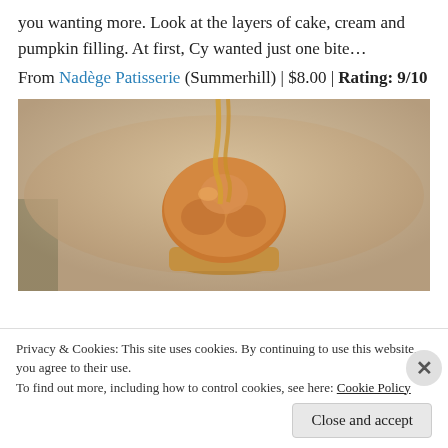you wanting more. Look at the layers of cake, cream and pumpkin filling. At first, Cy wanted just one bite… From Nadège Patisserie (Summerhill) | $8.00 | Rating: 9/10
[Figure (photo): Close-up photo of a scoop of golden-brown pumpkin ice cream in a small cup, with caramel drizzle on top, against a blurred background.]
Privacy & Cookies: This site uses cookies. By continuing to use this website, you agree to their use.
To find out more, including how to control cookies, see here: Cookie Policy